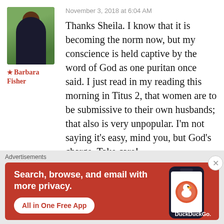November 3, 2018 at 6:04 AM
[Figure (photo): Profile photo of Barbara Fisher, a woman in a black outfit standing outdoors in front of green foliage]
★ Barbara Fisher
Thanks Sheila. I know that it is becoming the norm now, but my conscience is held captive by the word of God as one puritan once said. I just read in my reading this morning in Titus 2, that women are to be submissive to their own husbands; that also is very unpopular. I'm not saying it's easy, mind you, but God's charge. Take care!
Advertisements
[Figure (screenshot): DuckDuckGo advertisement banner: Search, browse, and email with more privacy. All in One Free App. Shows a phone with DuckDuckGo logo.]